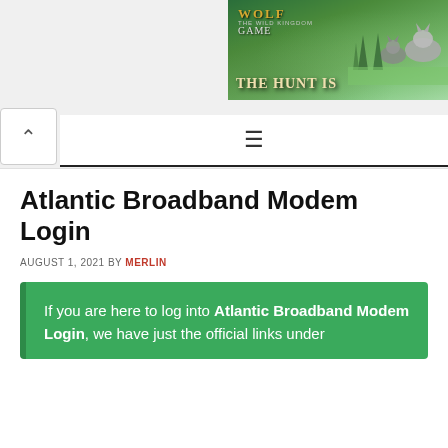[Figure (photo): Wolf Game - The Wild Kingdom advertisement banner showing wolves in a meadow with text 'THE HUNT IS']
Atlantic Broadband Modem Login
AUGUST 1, 2021 BY MERLIN
If you are here to log into Atlantic Broadband Modem Login, we have just the official links under